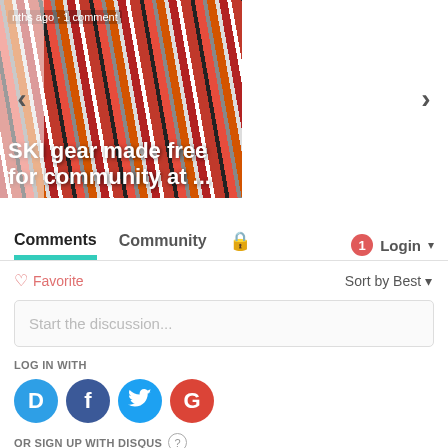[Figure (screenshot): Carousel with two article cards. Left card shows ski gear with text 'nths ago · 1 comment' and title 'SKI gear made free for community at ...'. Right card shows a building with '2 months ago · 4 c' and title 'Comings and goings: new businesses in'. Navigation arrows on left and right.]
Comments  Community  🔒  1  Login
♡ Favorite   Sort by Best
Start the discussion...
LOG IN WITH
[Figure (logo): Social login icons: Disqus (D), Facebook (F), Twitter (T), Google (G)]
OR SIGN UP WITH DISQUS ?
(name input box)